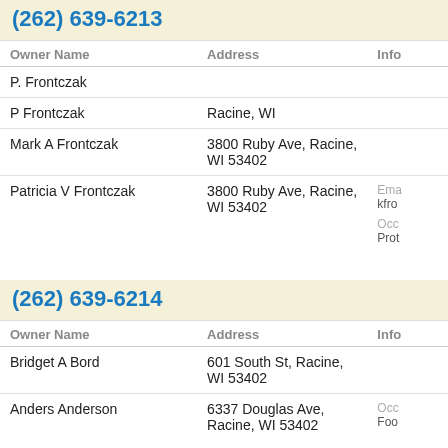(262) 639-6213
| Owner Name | Address | Info |
| --- | --- | --- |
| P. Frontczak |  |  |
| P Frontczak | Racine, WI |  |
| Mark A Frontczak | 3800 Ruby Ave, Racine, WI 53402 |  |
| Patricia V Frontczak | 3800 Ruby Ave, Racine, WI 53402 | Email: kfro... Occ: Prot... |
(262) 639-6214
| Owner Name | Address | Info |
| --- | --- | --- |
| Bridget A Bord | 601 South St, Racine, WI 53402 |  |
| Anders Anderson | 6337 Douglas Ave, Racine, WI 53402 | Occ: Foo... |